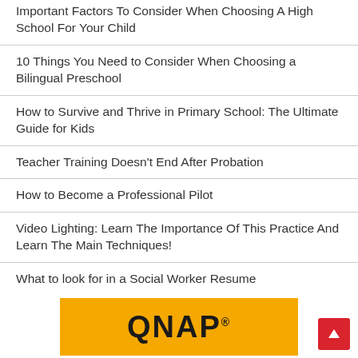Important Factors To Consider When Choosing A High School For Your Child
10 Things You Need to Consider When Choosing a Bilingual Preschool
How to Survive and Thrive in Primary School: The Ultimate Guide for Kids
Teacher Training Doesn't End After Probation
How to Become a Professional Pilot
Video Lighting: Learn The Importance Of This Practice And Learn The Main Techniques!
What to look for in a Social Worker Resume
[Figure (logo): QNAP advertisement banner with orange background and QNAP logo in dark text with registered trademark symbol]